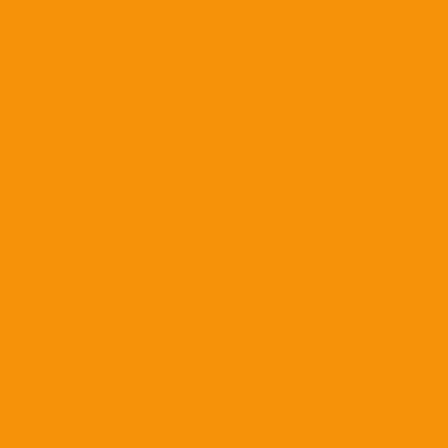kirkland.html#storylink-cpy
Posted by: CaneRock | January 31
[Figure (illustration): Avatar image with abstract mesh/network pattern in light blue on white background]
Gets:
Bostwick
MT6
Collins
Misses:
Kirkland (Obvious reason)
Coley (FSU)
Edwards (FSU)
Grace (Ville, seems momento...
Cunningham (Stanford)
Posted by: Sean Spence is a Beas...
[Figure (illustration): Avatar image with abstract mesh/network pattern in light blue on white background]
This was bound to happen... being so late in the game, ga our big board that we'll find o had to make space elsewhere... It's a business and a number...